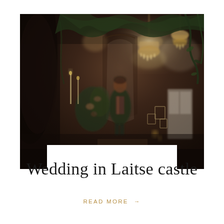[Figure (photo): Dark moody interior wedding venue photo showing a person in a suit standing in a dramatically lit hall decorated with crystal chandeliers, lush greenery, floral arrangements, candles, and vintage white furniture. The atmosphere is romantic and gothic.]
Wedding in Laitse castle
READ MORE →